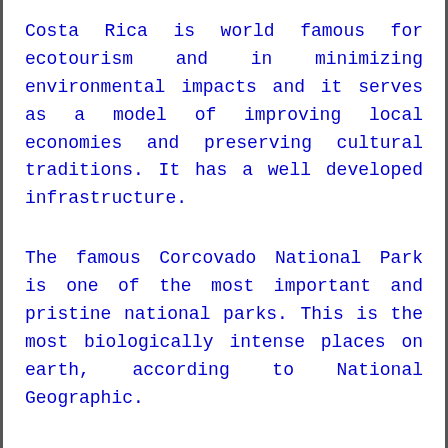Costa Rica is world famous for ecotourism and in minimizing environmental impacts and it serves as a model of improving local economies and preserving cultural traditions. It has a well developed infrastructure.
The famous Corcovado National Park is one of the most important and pristine national parks. This is the most biologically intense places on earth, according to National Geographic.
The Hacienda Baru National Wildlife Refuge